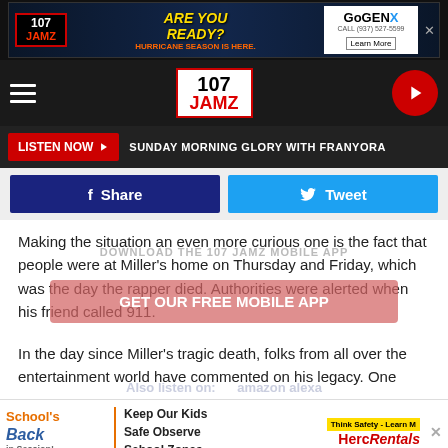[Figure (screenshot): Top banner advertisement for 107 JAMZ - Hurricane Season with GoGEN ad]
[Figure (logo): 107 JAMZ radio station navigation bar with hamburger menu and play button]
[Figure (screenshot): Listen Now button with Sunday Morning Glory with Franyora text]
[Figure (screenshot): Share and Tweet social media buttons]
Making the situation an even more curious one is the fact that people were at Miller's home on Thursday and Friday, which was the day the rapper died. Authorities were alerted when his friend called 911.
In the day since Miller's tragic death, folks from all over the entertainment world have commented on his legacy. One
[Figure (screenshot): Bottom advertisement: School's Back in Session - Keep Our Kids Safe Observe School Zones - HercRentals]